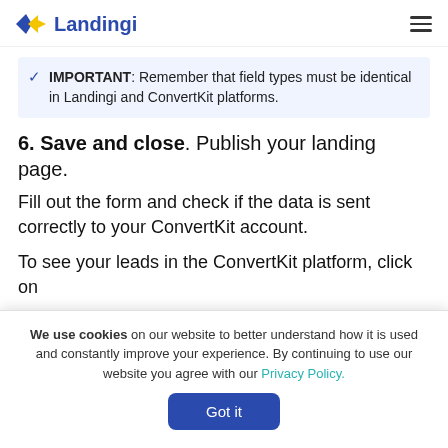Landingi
IMPORTANT: Remember that field types must be identical in Landingi and ConvertKit platforms.
6. Save and close. Publish your landing page.
Fill out the form and check if the data is sent correctly to your ConvertKit account.
To see your leads in the ConvertKit platform, click on the Grow tab and select Subscribers
We use cookies on our website to better understand how it is used and constantly improve your experience. By continuing to use our website you agree with our Privacy Policy.